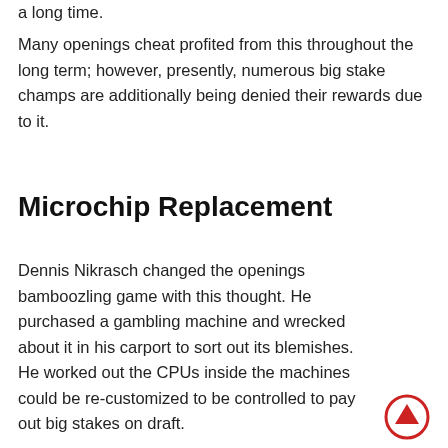a long time.
Many openings cheat profited from this throughout the long term; however, presently, numerous big stake champs are additionally being denied their rewards due to it.
Microchip Replacement
Dennis Nikrasch changed the openings bamboozling game with this thought. He purchased a gambling machine and wrecked about it in his carport to sort out its blemishes. He worked out the CPUs inside the machines could be re-customized to be controlled to pay out big stakes on draft.